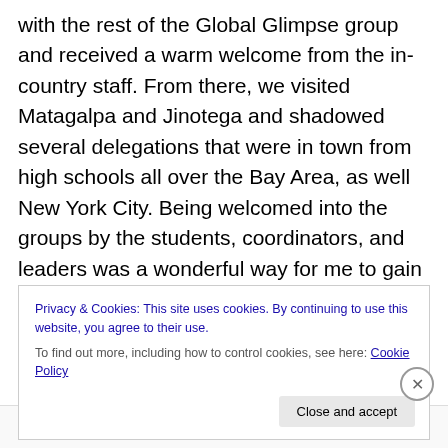with the rest of the Global Glimpse group and received a warm welcome from the in-country staff. From there, we visited Matagalpa and Jinotega and shadowed several delegations that were in town from high schools all over the Bay Area, as well New York City. Being welcomed into the groups by the students, coordinators, and leaders was a wonderful way for me to gain a deeper understanding of the impacts the organization has on these students. Some of them have never left the country, and knowing my own desire to learn everything about the world, I was so excited that these students got an early start to their
Privacy & Cookies: This site uses cookies. By continuing to use this website, you agree to their use.
To find out more, including how to control cookies, see here: Cookie Policy
Close and accept
Advertisements